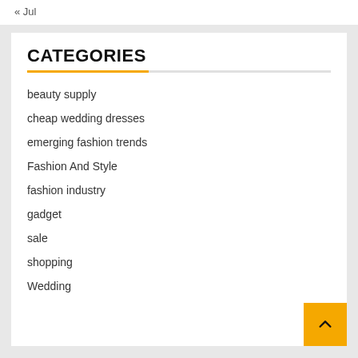« Jul
CATEGORIES
beauty supply
cheap wedding dresses
emerging fashion trends
Fashion And Style
fashion industry
gadget
sale
shopping
Wedding